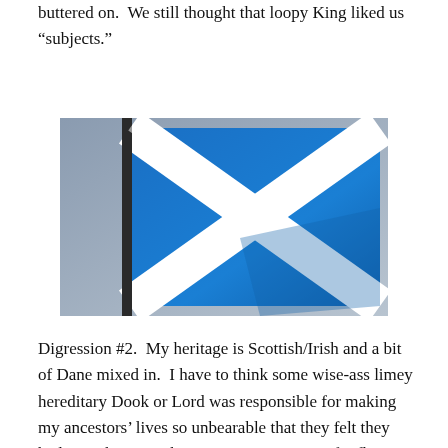buttered on.  We still thought that loopy King liked us “subjects.”
[Figure (photo): Photograph of the Scottish Saltire (St Andrew's Cross) flag — blue background with white diagonal cross — flying on a flagpole against a grey sky.]
Digression #2.  My heritage is Scottish/Irish and a bit of Dane mixed in.  I have to think some wise-ass limey hereditary Dook or Lord was responsible for making my ancestors’ lives so unbearable that they felt they had to make a treacherous journey to some far flung wilderness in the New World just to survive.  This thought kind of